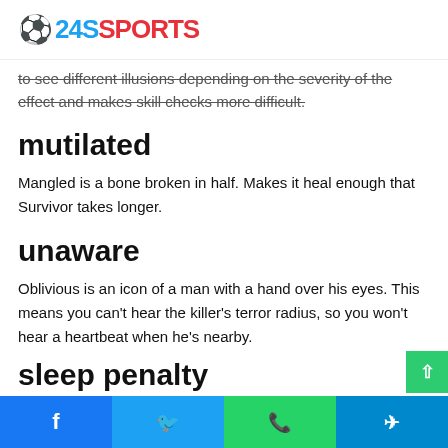24SSPORTS
to see different illusions depending on the severity of the effect and makes skill checks more difficult.
mutilated
Mangled is a bone broken in half. Makes it heal enough that Survivor takes longer.
unaware
Oblivious is an icon of a man with a hand over his eyes. This means you can't hear the killer's terror radius, so you won't hear a heartbeat when he's nearby.
sleep penalty
Facebook Twitter WhatsApp Telegram